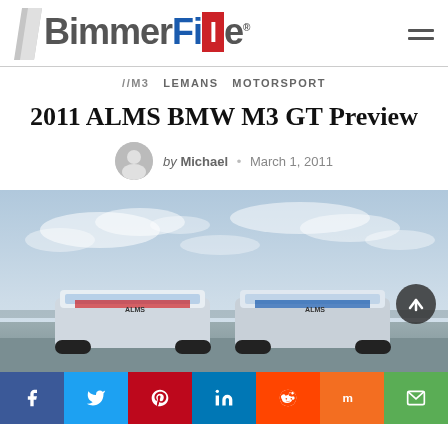[Figure (logo): BimmerFile logo with stylized slash and tricolor flag element]
//M3   LEMANS   MOTORSPORT
2011 ALMS BMW M3 GT Preview
by Michael • March 1, 2011
[Figure (photo): Two BMW M3 GT racing cars viewed from behind on a race track, overcast sky]
[Figure (infographic): Social media share bar with Facebook, Twitter, Pinterest, LinkedIn, Reddit, Mix, and Email buttons]